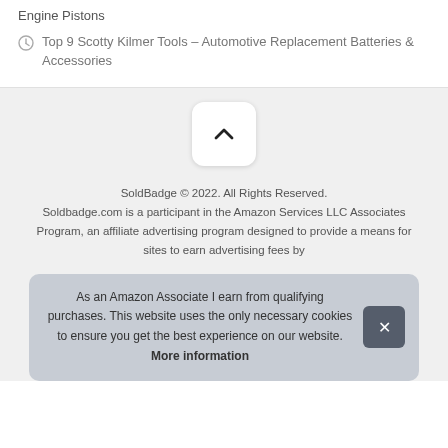Engine Pistons
Top 9 Scotty Kilmer Tools – Automotive Replacement Batteries & Accessories
[Figure (other): Scroll-to-top button with upward chevron icon on light grey background]
SoldBadge © 2022. All Rights Reserved. Soldbadge.com is a participant in the Amazon Services LLC Associates Program, an affiliate advertising program designed to provide a means for sites to earn advertising fees by
As an Amazon Associate I earn from qualifying purchases. This website uses the only necessary cookies to ensure you get the best experience on our website. More information